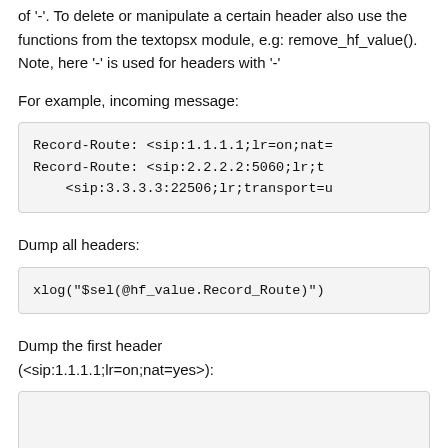of '-'. To delete or manipulate a certain header also use the functions from the textopsx module, e.g: remove_hf_value(). Note, here '-' is used for headers with '-'
For example, incoming message:
Record-Route: <sip:1.1.1.1;lr=on;nat=
Record-Route: <sip:2.2.2.2:5060;lr;t
    <sip:3.3.3.3:22506;lr;transport=u
Dump all headers:
xlog("$sel(@hf_value.Record_Route)")
Dump the first header (<sip:1.1.1.1;lr=on;nat=yes>):